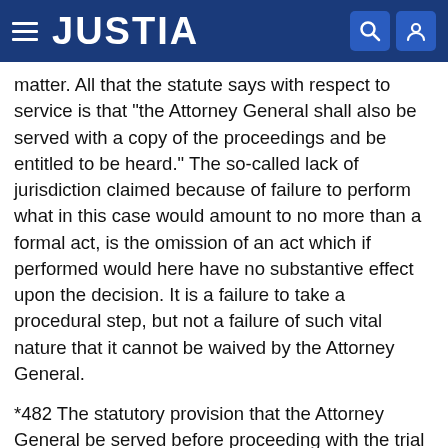JUSTIA
matter. All that the statute says with respect to service is that "the Attorney General shall also be served with a copy of the proceedings and be entitled to be heard." The so-called lack of jurisdiction claimed because of failure to perform what in this case would amount to no more than a formal act, is the omission of an act which if performed would here have no substantive effect upon the decision. It is a failure to take a procedural step, but not a failure of such vital nature that it cannot be waived by the Attorney General.
*482 The statutory provision that the Attorney General be served before proceeding with the trial did not impose upon the court a duty to examine sua sponte all jurisdictional aspects before entertaining the suit. That the statute requiring service can be waived by the Attorney General so as to continue the court's